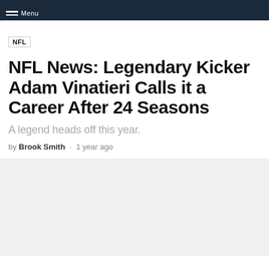Menu
NFL
NFL News: Legendary Kicker Adam Vinatieri Calls it a Career After 24 Seasons
A legend heads off this year.
by Brook Smith · 1 year ago
[Figure (photo): Light gray placeholder image area]